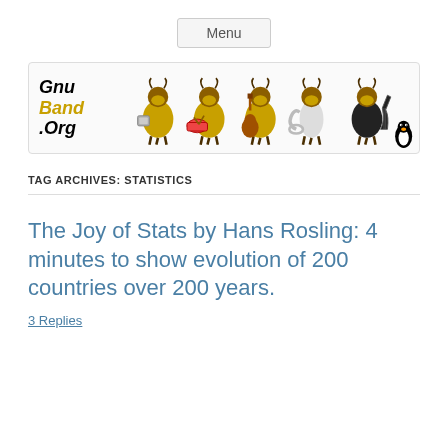Menu
[Figure (illustration): GnuBand.Org website banner showing five GNU wildebeest characters in yellow jackets playing various musical instruments (a disk, drums, guitar, trumpet/tuba, electric guitar) with text 'Gnu Band .Org' on the left and a small Linux penguin on the right.]
TAG ARCHIVES: STATISTICS
The Joy of Stats by Hans Rosling: 4 minutes to show evolution of 200 countries over 200 years.
3 Replies